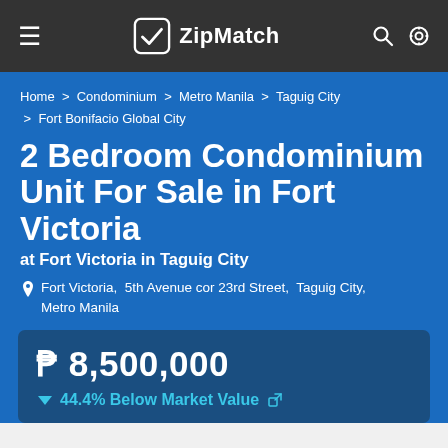ZipMatch
Home > Condominium > Metro Manila > Taguig City > Fort Bonifacio Global City
2 Bedroom Condominium Unit For Sale in Fort Victoria
at Fort Victoria in Taguig City
Fort Victoria,  5th Avenue cor 23rd Street,  Taguig City, Metro Manila
₱ 8,500,000
44.4% Below Market Value